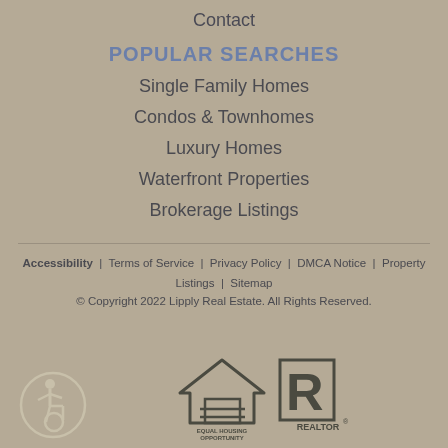Contact
POPULAR SEARCHES
Single Family Homes
Condos & Townhomes
Luxury Homes
Waterfront Properties
Brokerage Listings
Accessibility | Terms of Service | Privacy Policy | DMCA Notice | Property Listings | Sitemap © Copyright 2022 Lipply Real Estate. All Rights Reserved.
[Figure (logo): Accessibility icon (wheelchair symbol in circle), Equal Housing Opportunity logo, and REALTOR logo]